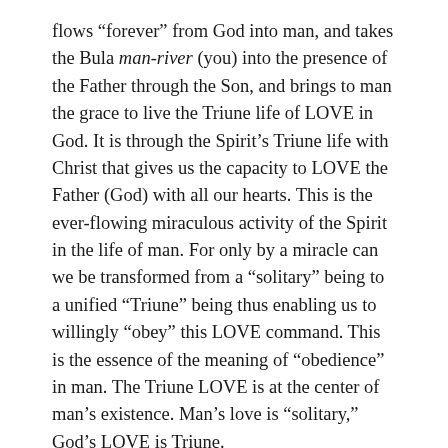flows “forever” from God into man, and takes the Bula man-river (you) into the presence of the Father through the Son, and brings to man the grace to live the Triune life of LOVE in God. It is through the Spirit’s Triune life with Christ that gives us the capacity to LOVE the Father (God) with all our hearts. This is the ever-flowing miraculous activity of the Spirit in the life of man. For only by a miracle can we be transformed from a “solitary” being to a unified “Triune” being thus enabling us to willingly “obey” this LOVE command. This is the essence of the meaning of “obedience” in man. The Triune LOVE is at the center of man’s existence. Man’s love is “solitary,” God’s LOVE is Triune.
Remember this, the purpose of the Trinitarian Life we have in Christ is to experience Their LOVE firsthand as we live in Their Triune relationship with each other. This is not academic, this is the Gospel being lived out in its primordial sense, and it takes a miracle to live it, as the Spirit continuously brings us into the Triune Life of God.